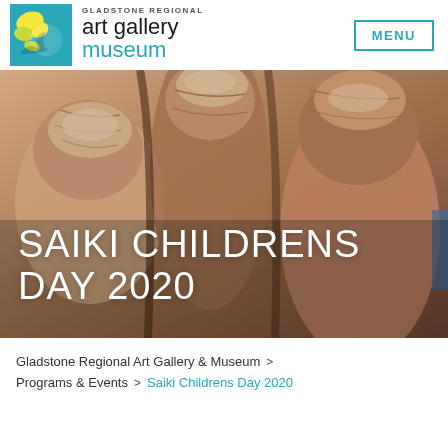[Figure (logo): Gladstone Regional Art Gallery Museum logo with colorful square icon and text]
MENU
[Figure (photo): Close-up photograph of weathered clay or ceramic sculpture fingers/hands in earth tones with overlaid text SAIKI CHILDRENS DAY 2020]
SAIKI CHILDRENS DAY 2020
Gladstone Regional Art Gallery & Museum  >
Programs & Events  >  Saiki Childrens Day 2020